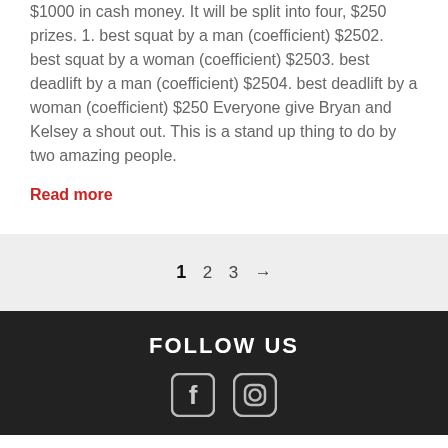$1000 in cash money. It will be split into four, $250 prizes. 1. best squat by a man (coefficient) $2502. best squat by a woman (coefficient) $2503. best deadlift by a man (coefficient) $2504. best deadlift by a woman (coefficient) $250 Everyone give Bryan and Kelsey a shout out. This is a stand up thing to do by two amazing people.
Read more
1  2  3  →
FOLLOW US